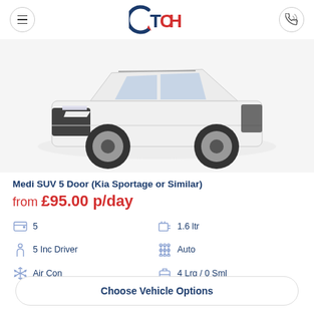TCH
[Figure (photo): White Kia Sportage SUV photographed from front-left angle on white background]
Medi SUV 5 Door (Kia Sportage or Similar)
from £95.00 p/day
5 (doors)
1.6 ltr
5 Inc Driver
Auto
Air Con
4 Lrg / 0 Sml
Choose Vehicle Options